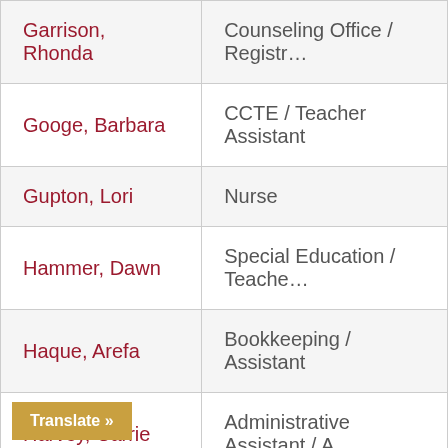| Name | Role |
| --- | --- |
| Garrison, Rhonda | Counseling Office / Registr… |
| Googe, Barbara | CCTE / Teacher Assistant |
| Gupton, Lori | Nurse |
| Hammer, Dawn | Special Education / Teache… |
| Haque, Arefa | Bookkeeping / Assistant |
| Harvey, Carrie | Administrative Assistant / A… |
| Holman, David | SpEd / Assistant |
| …ny | Music / Teacher Assistant |